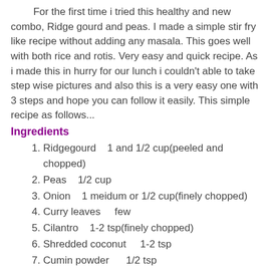For the first time i tried this healthy and new combo, Ridge gourd and peas. I made a simple stir fry like recipe without adding any masala. This goes well with both rice and rotis. Very easy and quick recipe. As i made this in hurry for our lunch i couldn't able to take step wise pictures and also this is a very easy one with 3 steps and hope you can follow it easily. This simple recipe as follows...
Ingredients
Ridgegourd    1 and 1/2 cup(peeled and chopped)
Peas    1/2 cup
Onion    1 meidum or 1/2 cup(finely chopped)
Curry leaves    few
Cilantro    1-2 tsp(finely chopped)
Shredded coconut    1-2 tsp
Cumin powder    1/2 tsp
Chilli powder    1/2-1 tsp
Turmeric powder    1/4 tsp
Salt to taste